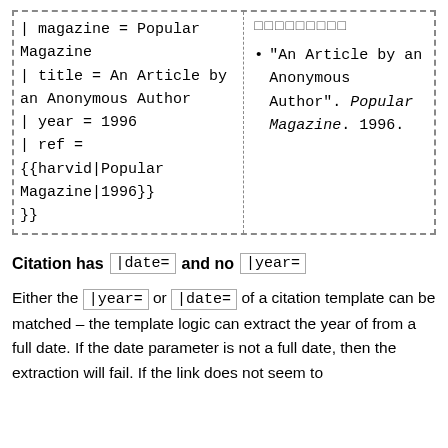| | magazine = Popular Magazine
| title = An Article by an Anonymous Author
| year = 1996
| ref = {{harvid|Popular Magazine|1996}}
}} | □□□□□□□□□
• "An Article by an Anonymous Author". Popular Magazine. 1996. |
Citation has |date= and no |year=
Either the |year= or |date= of a citation template can be matched – the template logic can extract the year of from a full date. If the date parameter is not a full date, then the extraction will fail. If the link does not seem to